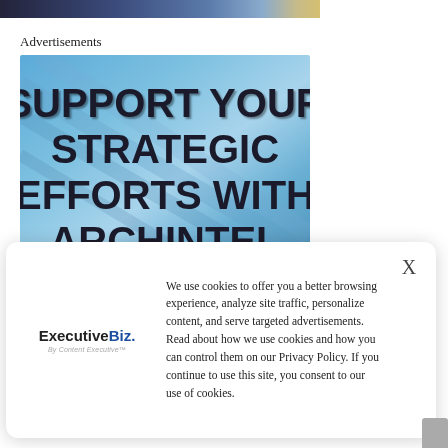[Figure (photo): Top image strip showing a dark to light gradient photograph, partially visible at top of page]
Advertisements
[Figure (infographic): Advertisement banner with blue background and text: SUPPORT YOUR STRATEGIC EFFORTS WITH ARCHINTEL]
We use cookies to offer you a better browsing experience, analyze site traffic, personalize content, and serve targeted advertisements. Read about how we use cookies and how you can control them on our Privacy Policy. If you continue to use this site, you consent to our use of cookies.